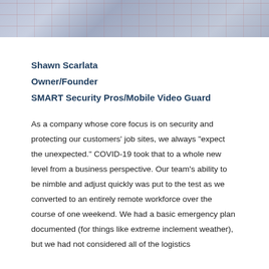[Figure (photo): Partial photo at top of page showing a grid-patterned surface with blue-gray tones, likely a construction site or security-related image.]
Shawn Scarlata
Owner/Founder
SMART Security Pros/Mobile Video Guard
As a company whose core focus is on security and protecting our customers' job sites, we always “expect the unexpected.” COVID-19 took that to a whole new level from a business perspective. Our team’s ability to be nimble and adjust quickly was put to the test as we converted to an entirely remote workforce over the course of one weekend. We had a basic emergency plan documented (for things like extreme inclement weather), but we had not considered all of the logistics